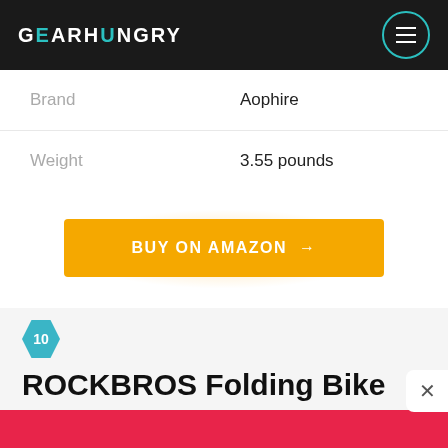GEARHUNGRY
| Property | Value |
| --- | --- |
| Brand | Aophire |
| Weight | 3.55 pounds |
BUY ON AMAZON →
10 ROCKBROS Folding Bike
[Figure (infographic): eBay Motors advertisement banner: red background, ebay motors logo, text 'The right part at the right prices', arrow circle icon]